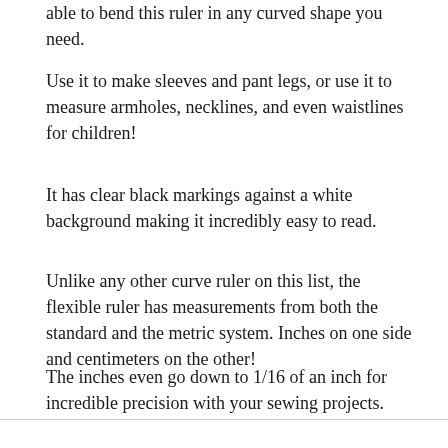able to bend this ruler in any curved shape you need.
Use it to make sleeves and pant legs, or use it to measure armholes, necklines, and even waistlines for children!
It has clear black markings against a white background making it incredibly easy to read.
Unlike any other curve ruler on this list, the flexible ruler has measurements from both the standard and the metric system. Inches on one side and centimeters on the other!
The inches even go down to 1/16 of an inch for incredible precision with your sewing projects.